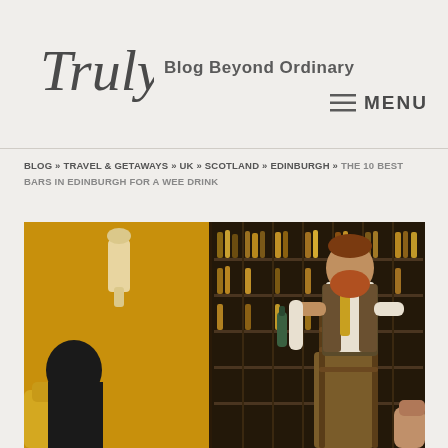Truly — Blog Beyond Ordinary
MENU
BLOG » TRAVEL & GETAWAYS » UK » SCOTLAND » EDINBURGH » THE 10 BEST BARS IN EDINBURGH FOR A WEE DRINK
[Figure (photo): A bartender in a tweed kilt and waistcoat stands on a ladder in front of a large shelving unit filled with whisky and spirit bottles. The bar has warm golden-yellow walls. In the foreground left, a seated guest in a dark jacket is visible. A leather chair is partially visible on the right.]